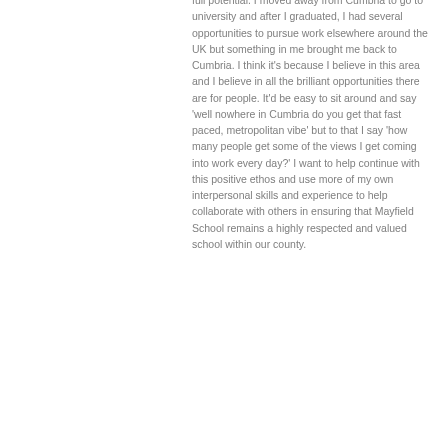full potential. I moved away from Cumbria to go to university and after I graduated, I had several opportunities to pursue work elsewhere around the UK but something in me brought me back to Cumbria. I think it's because I believe in this area and I believe in all the brilliant opportunities there are for people. It'd be easy to sit around and say 'well nowhere in Cumbria do you get that fast paced, metropolitan vibe' but to that I say 'how many people get some of the views I get coming into work every day?' I want to help continue with this positive ethos and use more of my own interpersonal skills and experience to help collaborate with others in ensuring that Mayfield School remains a highly respected and valued school within our county.